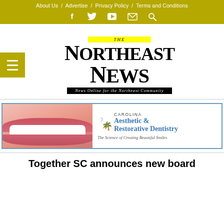About Us / Advertise / Privacy Policy / Terms and Conditions
[Figure (other): Social media icons: Facebook, Twitter, YouTube, Email, Search on olive/yellow background]
[Figure (logo): The Northeast News logo with yellow highlighted THE, large serif NORTHEAST NEWS text, and tagline bar: News Online for the Northeast Community]
[Figure (other): Carolina Aesthetic & Restorative Dentistry advertisement banner with smile photo and text: The Science of Creating Beautiful Smiles]
Together SC announces new board